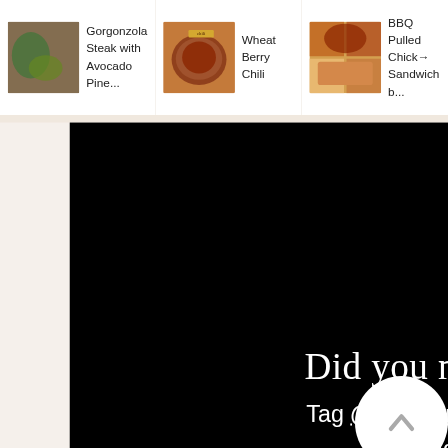[Figure (screenshot): Navigation bar with food recipe thumbnails: Gorgonzola Steak with Avocado Pine..., Wheat Berry Chili, BBQ Pulled Chick... Sandwich b...]
[Figure (screenshot): Black Instagram call-to-action card with Instagram logo icon, text 'Did you make this recipe? Tag @northernyum on Instagram and hashtag it #northernyum']
Recipe Card powered by tasty RECIPES
[Figure (photo): Food photo showing clams or shellfish arranged in a blue baking dish, viewed from above]